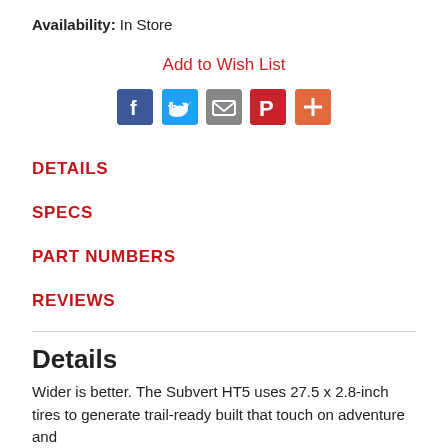Availability: In Store
Add to Wish List
[Figure (other): Social sharing icons: Facebook (blue), Twitter (light blue), Email (gray), Pinterest (red), More/Plus (orange-red)]
DETAILS
SPECS
PART NUMBERS
REVIEWS
Details
Wider is better. The Subvert HT5 uses 27.5 x 2.8-inch tires to generate trail-ready built that touch on adventure and...